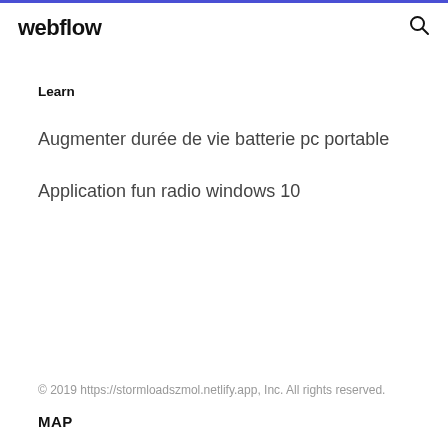webflow
Learn
Augmenter durée de vie batterie pc portable
Application fun radio windows 10
© 2019 https://stormloadszmol.netlify.app, Inc. All rights reserved.
MAP